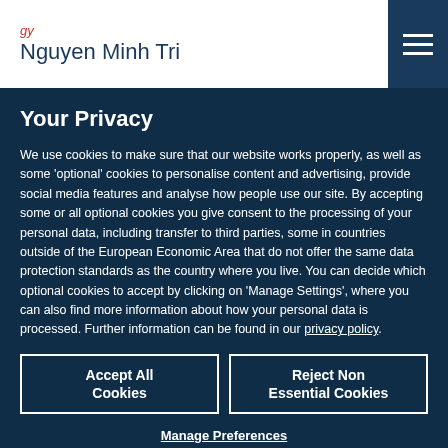Nguyen Minh Tri
Your Privacy
We use cookies to make sure that our website works properly, as well as some ‘optional’ cookies to personalise content and advertising, provide social media features and analyse how people use our site. By accepting some or all optional cookies you give consent to the processing of your personal data, including transfer to third parties, some in countries outside of the European Economic Area that do not offer the same data protection standards as the country where you live. You can decide which optional cookies to accept by clicking on ‘Manage Settings’, where you can also find more information about how your personal data is processed. Further information can be found in our privacy policy.
Accept All Cookies
Reject Non Essential Cookies
Manage Preferences